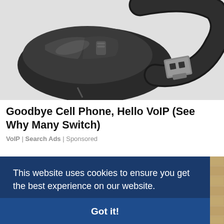[Figure (photo): A dark grey wireless computer mouse and a small USB wireless dongle/receiver on a white background]
Goodbye Cell Phone, Hello VoIP (See Why Many Switch)
VoIP | Search Ads | Sponsored
This website uses cookies to ensure you get the best experience on our website. Learn more
Got it!